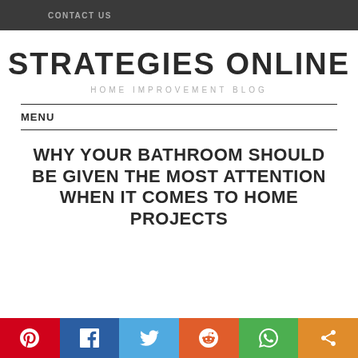CONTACT US
STRATEGIES ONLINE
HOME IMPROVEMENT BLOG
MENU
WHY YOUR BATHROOM SHOULD BE GIVEN THE MOST ATTENTION WHEN IT COMES TO HOME PROJECTS
[Figure (infographic): Social sharing bar with Pinterest, Facebook, Twitter, Reddit, WhatsApp, and Share buttons]